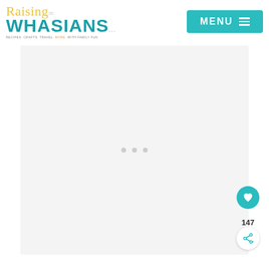[Figure (logo): Raising Whasians logo with script 'Raising' in yellow/gold and block 'WHASIANS' in teal, tagline: RECIPES. CRAFTS. TRAVEL. MORE WITH FAMILY FUN]
MENU ☰
[Figure (other): Large white/light gray content placeholder area with three small gray loading dots in the center]
[Figure (other): Teal circular heart/favorite button icon]
147
[Figure (other): White circular share button icon]